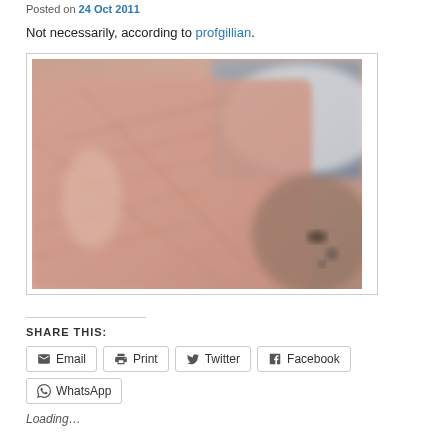Posted on 24 Oct 2011
Not necessarily, according to profgillian.
[Figure (photo): Blurry close-up photograph of what appears to be a human hand or palm in front of a face, with reddish-pink skin tones and some dark background elements visible.]
SHARE THIS:
Email
Print
Twitter
Facebook
WhatsApp
Loading…